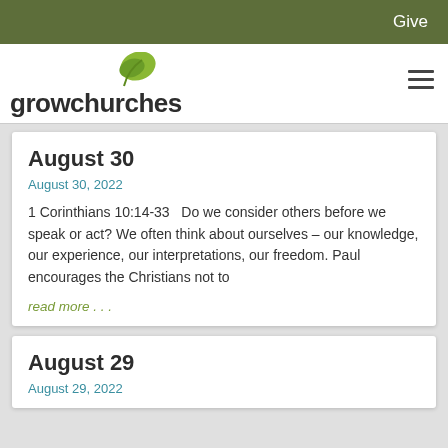Give
[Figure (logo): growchurches logo with green leaf above the text]
August 30
August 30, 2022
1 Corinthians 10:14-33   Do we consider others before we speak or act? We often think about ourselves – our knowledge, our experience, our interpretations, our freedom. Paul encourages the Christians not to
read more . . .
August 29
August 29, 2022